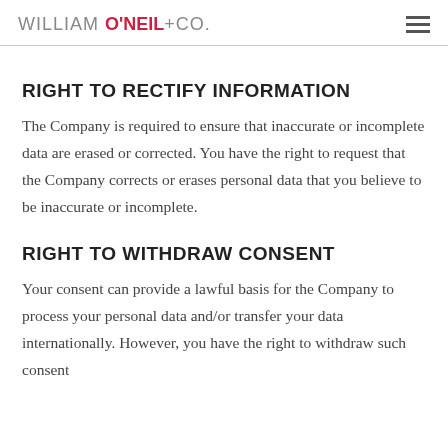WILLIAM O'NEIL+CO.
RIGHT TO RECTIFY INFORMATION
The Company is required to ensure that inaccurate or incomplete data are erased or corrected. You have the right to request that the Company corrects or erases personal data that you believe to be inaccurate or incomplete.
RIGHT TO WITHDRAW CONSENT
Your consent can provide a lawful basis for the Company to process your personal data and/or transfer your data internationally. However, you have the right to withdraw such consent